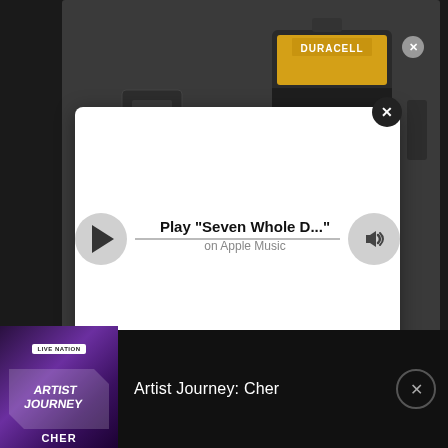[Figure (screenshot): Dark background with Duracell battery advertisement in top portion of screen]
[Figure (screenshot): Apple Music popup overlay with play button, progress line, volume button, showing 'Play "Seven Whole D..."' and 'on Apple Music' text, with X close button]
Play "Seven Whole D..."
on Apple Music
[Figure (screenshot): Bottom notification bar showing Artist Journey: Cher with Live Nation podcast thumbnail and X close button]
Artist Journey: Cher